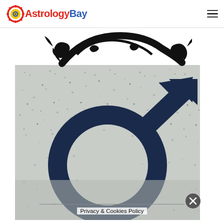[Figure (logo): AstrologyBay logo with sun icon and red/blue text]
[Figure (illustration): Partial ornamental crescent or Scorpio zodiac symbol in black ink, shown at top of content area]
[Figure (photo): Close-up photograph of Mars astrological symbol (male/Mars sign) painted in dark navy blue on a speckled granite or stone surface]
Privacy & Cookies Policy